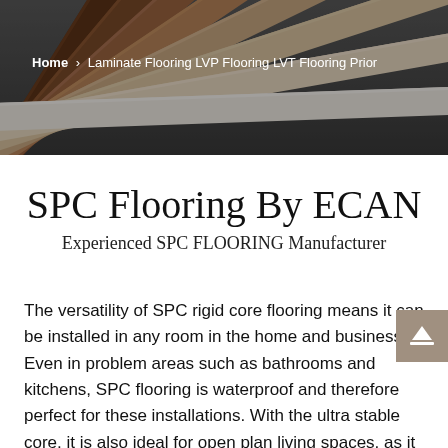[Figure (photo): Fan arrangement of flooring samples (laminate/SPC/LVP boards) in various wood tones from white/light to dark brown, displayed as overlapping planks on a gray background.]
Home > Laminate Flooring LVP Flooring LVT Flooring Prior
SPC Flooring By ECAN
Experienced SPC FLOORING Manufacturer
The versatility of SPC rigid core flooring means it can be installed in any room in the home and business. Even in problem areas such as bathrooms and kitchens, SPC flooring is waterproof and therefore perfect for these installations. With the ultra stable core, it is also ideal for open plan living spaces, as it can be laid in large areas